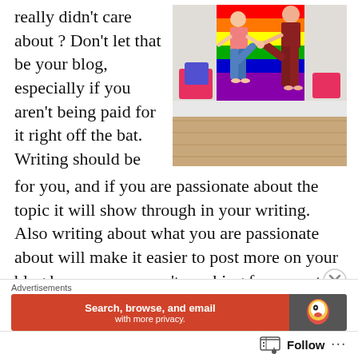really didn't care about ? Don't let that be your blog, especially if you aren't being paid for it right off the bat. Writing should be
[Figure (photo): Two people doing a yoga-like pose holding hands in front of a rainbow pride flag, standing on a wooden floor with colorful pillows.]
for you, and if you are passionate about the topic it will show through in your writing. Also writing about what you are passionate about will make it easier to post more on your blog because you aren't reaching for a curated theme that you either can't easily speak about or don't want to commit your energy to researching into.
Advertisements
[Figure (screenshot): DuckDuckGo advertisement banner: red section with text 'Search, browse, and email with more privacy.' and dark section with DuckDuckGo duck logo.]